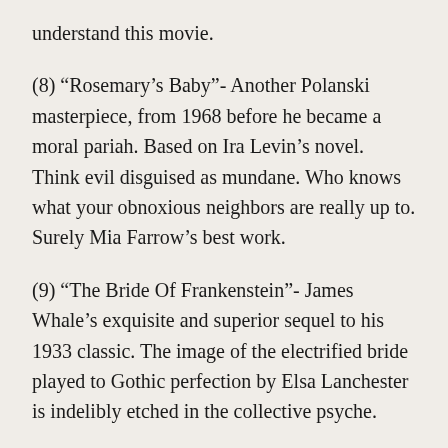understand this movie.
(8) “Rosemary’s Baby”- Another Polanski masterpiece, from 1968 before he became a moral pariah. Based on Ira Levin’s novel. Think evil disguised as mundane. Who knows what your obnoxious neighbors are really up to. Surely Mia Farrow’s best work.
(9) “The Bride Of Frankenstein”- James Whale’s exquisite and superior sequel to his 1933 classic. The image of the electrified bride played to Gothic perfection by Elsa Lanchester is indelibly etched in the collective psyche.